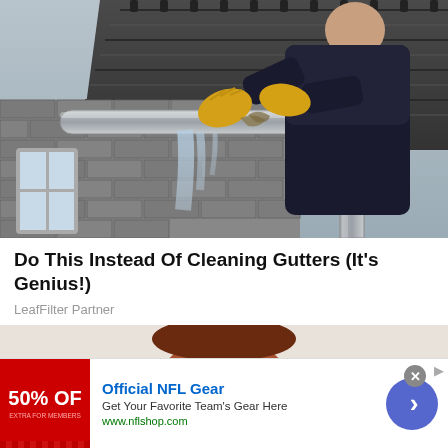[Figure (photo): Person wearing yellow gloves cleaning a gutter on a brick house, water dripping from the gutter, gray roof visible in background]
Do This Instead Of Cleaning Gutters (It's Genius!)
LeafFilter Partner
[Figure (illustration): Partial cartoon illustration of a character's head]
[Figure (photo): Official NFL Gear advertisement banner. Red logo showing '50% OFF'. Title: Official NFL Gear. Description: Get Your Favorite Team's Gear Here. URL: www.nflshop.com. Blue circular CTA button with chevron.]